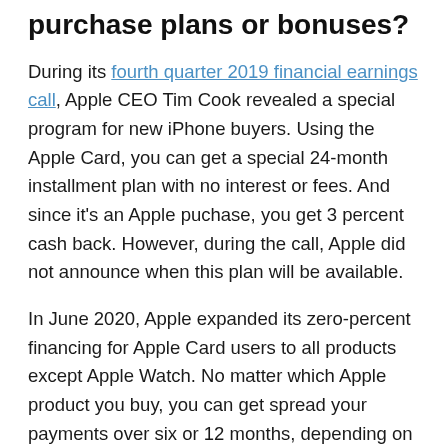purchase plans or bonuses?
During its fourth quarter 2019 financial earnings call, Apple CEO Tim Cook revealed a special program for new iPhone buyers. Using the Apple Card, you can get a special 24-month installment plan with no interest or fees. And since it's an Apple puchase, you get 3 percent cash back. However, during the call, Apple did not announce when this plan will be available.
In June 2020, Apple expanded its zero-percent financing for Apple Card users to all products except Apple Watch. No matter which Apple product you buy, you can get spread your payments over six or 12 months, depending on your purchase. The monthly installments are similar to the promos offered with the Barclaycard Financing Visa, though